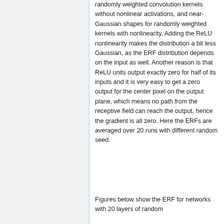randomly weighted convolution kernels without nonlinear activations, and near-Gaussian shapes for randomly weighted kernels with nonlinearity. Adding the ReLU nonlinearity makes the distribution a bit less Gaussian, as the ERF distribution depends on the input as well. Another reason is that ReLU units output exactly zero for half of its inputs and it is very easy to get a zero output for the center pixel on the output plane, which means no path from the receptive field can reach the output, hence the gradient is all zero. Here the ERFs are averaged over 20 runs with different random seed.
Figures below show the ERF for networks with 20 layers of random